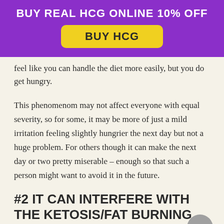[Figure (infographic): Purple banner advertisement with text 'BUY REAL HCG ONLINE 10% OFF' and a yellow rounded button labeled 'BUY HCG']
feel like you can handle the diet more easily, but you do get hungry.
This phenomenom may not affect everyone with equal severity, so for some, it may be more of just a mild irritation feeling slightly hungrier the next day but not a huge problem. For others though it can make the next day or two pretty miserable – enough so that such a person might want to avoid it in the future.
#2 IT CAN INTERFERE WITH THE KETOSIS/FAT BURNING STATE